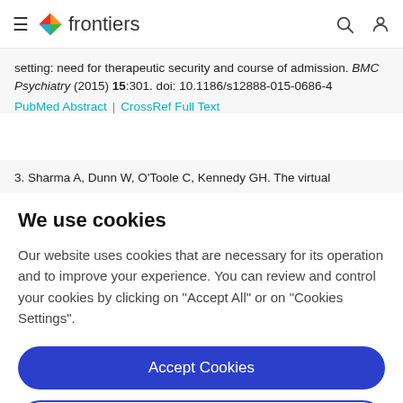frontiers (navigation bar with hamburger menu, logo, search and user icons)
setting: need for therapeutic security and course of admission. BMC Psychiatry (2015) 15:301. doi: 10.1186/s12888-015-0686-4
PubMed Abstract | CrossRef Full Text
3. Sharma A, Dunn W, O'Toole C, Kennedy GH. The virtual
We use cookies
Our website uses cookies that are necessary for its operation and to improve your experience. You can review and control your cookies by clicking on "Accept All" or on "Cookies Settings".
Accept Cookies
Cookies Settings